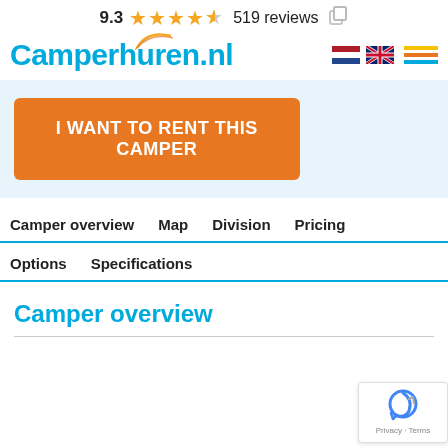9.3 ★★★★☆ 519 reviews
[Figure (logo): Camperhuren.nl logo with orange/yellow accent arc, Dutch and UK flag icons, and hamburger menu]
[Figure (infographic): Orange CTA button: I WANT TO RENT THIS CAMPER on light blue background]
Camper overview   Map   Division   Pricing
Options   Specifications
Camper overview
[Figure (logo): Google reCAPTCHA badge with Privacy - Terms text]